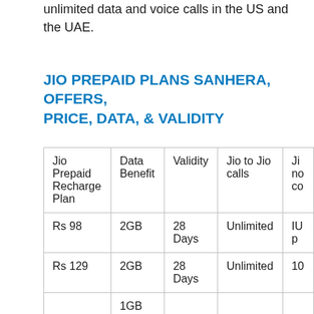unlimited data and voice calls in the US and the UAE.
JIO PREPAID PLANS SANHERA, OFFERS, PRICE, DATA, & VALIDITY
| Jio Prepaid Recharge Plan | Data Benefit | Validity | Jio to Jio calls | Ji no co |
| --- | --- | --- | --- | --- |
| Rs 98 | 2GB | 28 Days | Unlimited | IU p |
| Rs 129 | 2GB | 28 Days | Unlimited | 10 |
|  | 1GB | 24... |  |  |